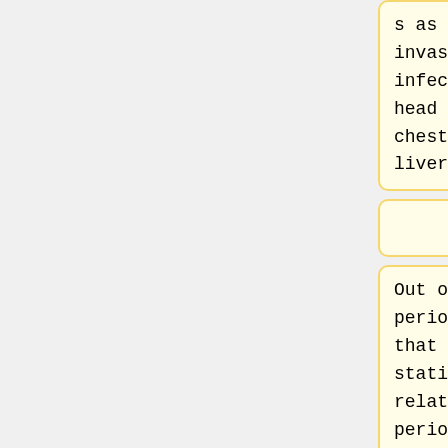s as well as invasive human infections of the head and neck, chest, abdomen, and liver.
s as well as invasive human infections of the head and neck, chest, abdomen, and liver.(2)
Out of all periodontal species that are statistically related with periodontal disease, it is the most
Out of all periodontal species that are statistically related with periodontal disease, it is the most